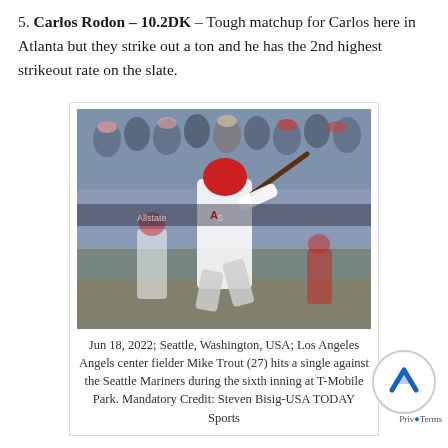5. Carlos Rodon – 10.2DK – Tough matchup for Carlos here in Atlanta but they strike out a ton and he has the 2nd highest strikeout rate on the slate.
[Figure (photo): Baseball player in Los Angeles Angels uniform (red helmet, white uniform) swinging a bat at a stadium with fans in the background.]
Jun 18, 2022; Seattle, Washington, USA; Los Angeles Angels center fielder Mike Trout (27) hits a single against the Seattle Mariners during the sixth inning at T-Mobile Park. Mandatory Credit: Steven Bisig-USA TODAY Sports
5 Stacks to consider on this slate: